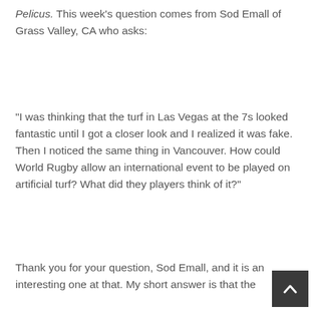Pelicus.   This week's question comes from Sod Emall of Grass Valley, CA who asks:
“I was thinking that the turf in Las Vegas at the 7s looked fantastic until I got a closer look and I realized it was fake.   Then I noticed the same thing in Vancouver.   How could World Rugby allow an international event to be played on artificial turf?   What did they players think of it?”
Thank you for your question, Sod Emall, and it is an interesting one at that.  My short answer is that the...